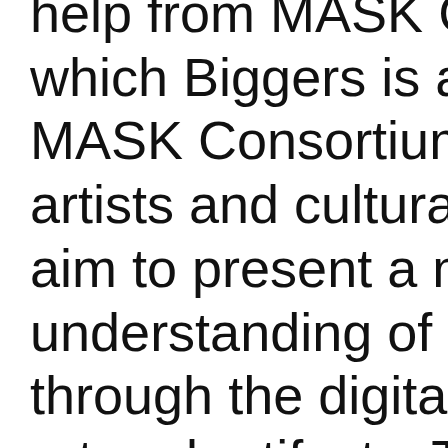help from MASK Co which Biggers is a c MASK Consortium i artists and cultural i aim to present a mo understanding of hu through the digital p art and artifacts. Th of the project has g